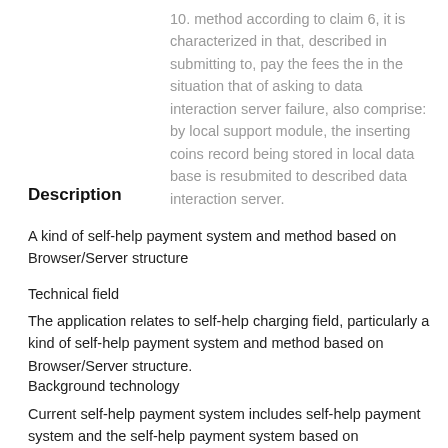10. method according to claim 6, it is characterized in that, described in submitting to, pay the fees the in the situation that of asking to data interaction server failure, also comprise: by local support module, the inserting coins record being stored in local data base is resubmited to described data interaction server.
Description
A kind of self-help payment system and method based on Browser/Server structure
Technical field
The application relates to self-help charging field, particularly a kind of self-help payment system and method based on Browser/Server structure.
Background technology
Current self-help payment system includes self-help payment system and the self-help payment system based on Browser/Server structure based on Client/Server structure.